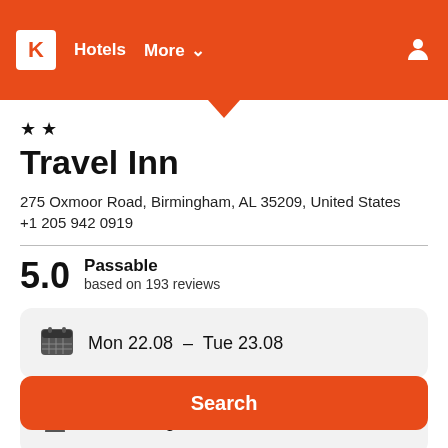K  Hotels  More
★ ★
Travel Inn
275 Oxmoor Road, Birmingham, AL 35209, United States
+1 205 942 0919
5.0  Passable  based on 193 reviews
Mon 22.08  –  Tue 23.08
1 room, 2 guests
Search